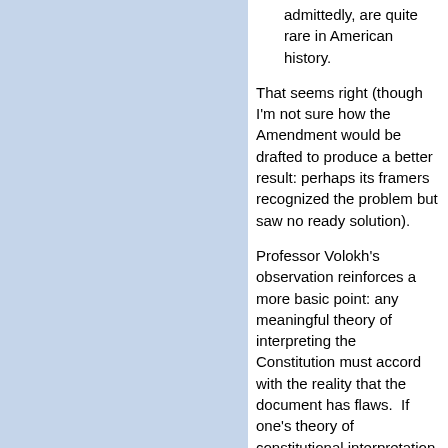admittedly, are quite rare in American history.
That seems right (though I'm not sure how the Amendment would be drafted to produce a better result: perhaps its framers recognized the problem but saw no ready solution).
Professor Volokh's observation reinforces a more basic point: any meaningful theory of interpreting the Constitution must accord with the reality that the document has flaws.  If one's theory of constitutional interpretation doesn't produce at least some results in disputed cases that are distasteful from a policy perspective, then likely its not a theory of interpretation at all, but